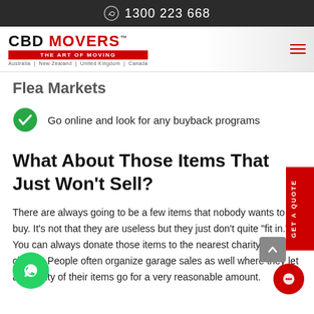1300 223 668
[Figure (logo): CBD Movers logo with tagline 'THE ART OF MOVING' and countries listed: Australia | New Zealand | United Kingdom | Canada]
Flea Markets
Go online and look for any buyback programs
What About Those Items That Just Won't Sell?
There are always going to be a few items that nobody wants to buy. It's not that they are useless but they just don't quite "fit in." You can always donate those items to the nearest charity or church. People often organize garage sales as well where they let a majority of their items go for a very reasonable amount.